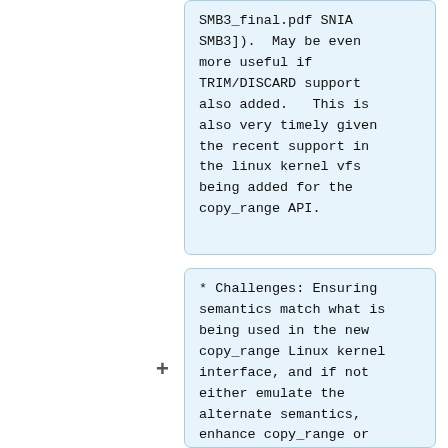SMB3_final.pdf SNIA SMB3]).  May be even more useful if TRIM/DISCARD support also added.   This is also very timely given the recent support in the linux kernel vfs being added for the copy_range API.
* Challenges: Ensuring semantics match what is being used in the new copy_range Linux kernel interface, and if not either emulate the alternate semantics, enhance copy_range or provide additional private ioctls to handle the SMB3 copy